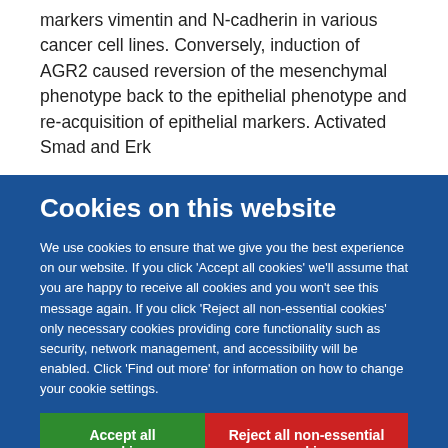markers vimentin and N-cadherin in various cancer cell lines. Conversely, induction of AGR2 caused reversion of the mesenchymal phenotype back to the epithelial phenotype and re-acquisition of epithelial markers. Activated Smad and Erk
Cookies on this website
We use cookies to ensure that we give you the best experience on our website. If you click 'Accept all cookies' we'll assume that you are happy to receive all cookies and you won't see this message again. If you click 'Reject all non-essential cookies' only necessary cookies providing core functionality such as security, network management, and accessibility will be enabled. Click 'Find out more' for information on how to change your cookie settings.
Accept all cookies
Reject all non-essential cookies
Find out more